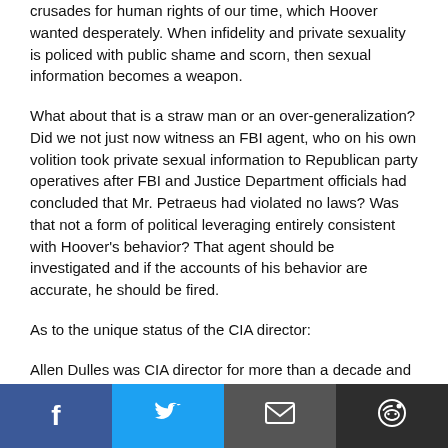crusades for human rights of our time, which Hoover wanted desperately. When infidelity and private sexuality is policed with public shame and scorn, then sexual information becomes a weapon.
What about that is a straw man or an over-generalization? Did we not just now witness an FBI agent, who on his own volition took private sexual information to Republican party operatives after FBI and Justice Department officials had concluded that Mr. Petraeus had violated no laws? Was that not a form of political leveraging entirely consistent with Hoover's behavior? That agent should be investigated and if the accounts of his behavior are accurate, he should be fired.
As to the unique status of the CIA director:
Allen Dulles was CIA director for more than a decade and slept with dozens of women who were not his wife. He may have been a far greater misery on this country than
Share buttons: Facebook, Twitter, Email, Reddit